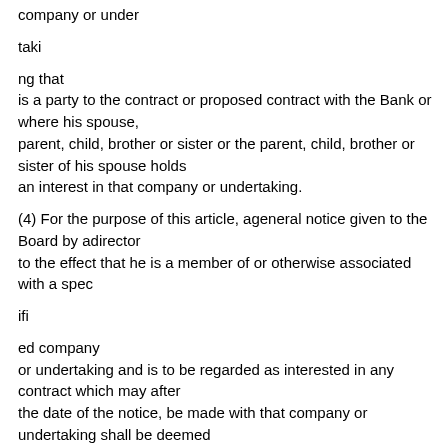company or under
taki
ng that
is a party to the contract or proposed contract with the Bank or where his spouse,
parent, child, brother or sister or the parent, child, brother or sister of his spouse holds
an interest in that company or undertaking.
(4) For the purpose of this article, ageneral notice given to the Board by adirector
to the effect that he is a member of or otherwise associated with a spec
ifi
ed company
or undertaking and is to be regarded as interested in any contract which may after
the date of the notice, be made with that company or undertaking shall be deemed
to be a sufficient declaration of interest in relation to any contract so made.